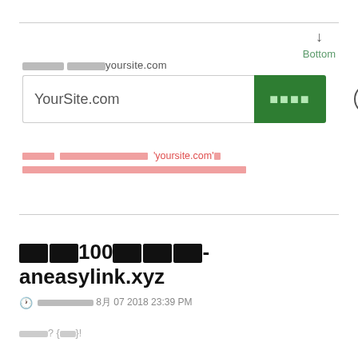[redacted] yoursite.com
[Figure (screenshot): Input field showing 'YourSite.com' with a green button containing redacted text and a help bubble icon]
[error] [redacted] 'yoursite.com' [redacted]
[redacted]100[redacted]- aneasylink.xyz
[clock] [redacted] 8月 07 2018 23:39 PM
[redacted]? {[redacted]}!